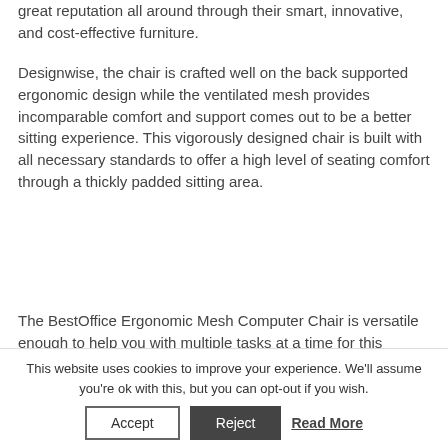great reputation all around through their smart, innovative, and cost-effective furniture.
Designwise, the chair is crafted well on the back supported ergonomic design while the ventilated mesh provides incomparable comfort and support comes out to be a better sitting experience. This vigorously designed chair is built with all necessary standards to offer a high level of seating comfort through a thickly padded sitting area.
The BestOffice Ergonomic Mesh Computer Chair is versatile enough to help you with multiple tasks at a time for this adjustable customization and rotation d...
This website uses cookies to improve your experience. We'll assume you're ok with this, but you can opt-out if you wish. Accept Reject Read More